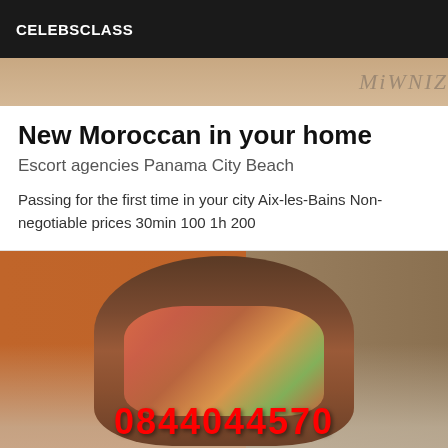CELEBSCLASS
[Figure (photo): Partial top strip of a photo showing a bedroom scene]
New Moroccan in your home
Escort agencies Panama City Beach
Passing for the first time in your city Aix-les-Bains Non-negotiable prices 30min 100 1h 200
[Figure (photo): Photo of a woman sitting on a bed in a room with orange walls, with a red phone number 0844044570 overlaid in large text]